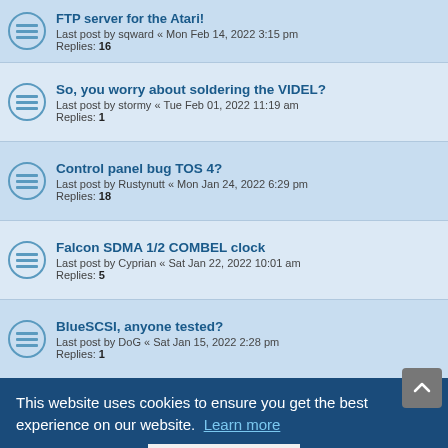FTP server for the Atari! — Last post by sqward « Mon Feb 14, 2022 3:15 pm — Replies: 16
So, you worry about soldering the VIDEL? — Last post by stormy « Tue Feb 01, 2022 11:19 am — Replies: 1
Control panel bug TOS 4? — Last post by Rustynutt « Mon Jan 24, 2022 6:29 pm — Replies: 18
Falcon SDMA 1/2 COMBEL clock — Last post by Cyprian « Sat Jan 22, 2022 10:01 am — Replies: 5
BlueSCSI, anyone tested? — Last post by DoG « Sat Jan 15, 2022 2:28 pm — Replies: 1
Beware of fraudulent Falcon ads — Last post by Robson « Sat Jan 15, 2022 5:42 am — Replies: 12
X11 – Gdk-WARNING **: init_bw: failed to allocate colors, falling back to black-and-white — Replies: 8
Wrapping my head around COMBEL and buffer delay — Last post by Rustynutt « Thu Jan 13, 2022 2:23 am
Falcon C67 — Last post by Rustynutt « Sun Jan 09, 2022 3:19 pm
This website uses cookies to ensure you get the best experience on our website. Learn more
Got it!